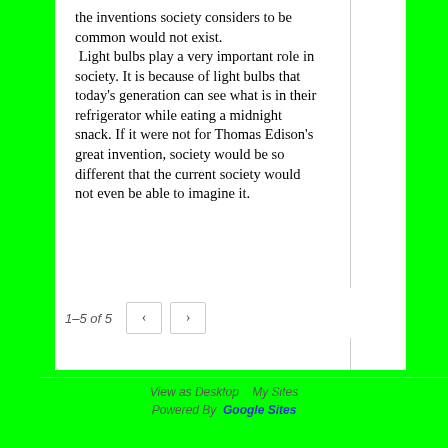the inventions society considers to be common would not exist.
 Light bulbs play a very important role in society. It is because of light bulbs that today's generation can see what is in their refrigerator while eating a midnight snack. If it were not for Thomas Edison's great invention, society would be so different that the current society would not even be able to imagine it.
1–5 of 5   <   >
View as Desktop   My Sites
Powered By  Google Sites